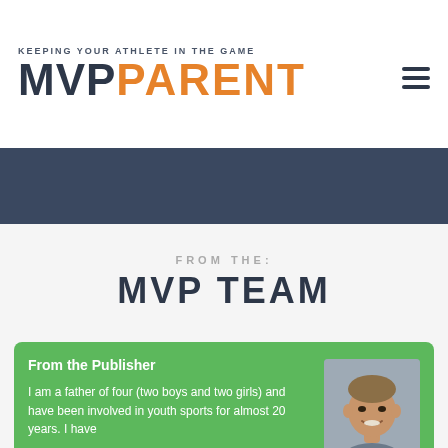KEEPING YOUR ATHLETE IN THE GAME MVP PARENT
[Figure (illustration): MVP Parent logo with tagline 'KEEPING YOUR ATHLETE IN THE GAME', hamburger menu icon in top right]
FROM THE:
MVP TEAM
From the Publisher
I am a father of four (two boys and two girls) and have been involved in youth sports for almost 20 years. I have
[Figure (photo): Portrait photo of a man, smiling, against a gray background]